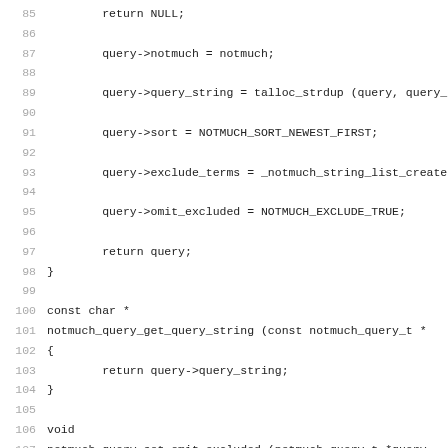[Figure (screenshot): Source code listing in C showing lines 85-117 of a notmuch query library implementation, with line numbers on the left in gray and code in monospace font.]